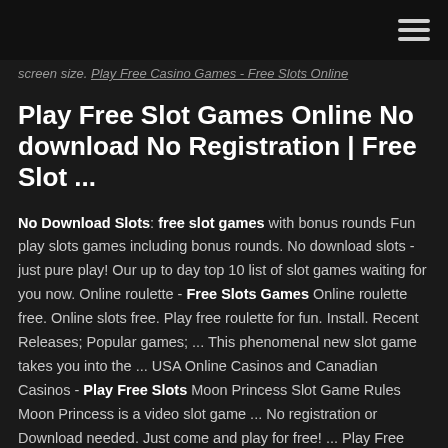screen size. Play Free Casino Games - Free Slots Online
Play Free Slot Games Online No download No Registration | Free Slot ...
No Download Slots: free slot games with bonus rounds Fun play slots games including bonus rounds. No download slots - just pure play! Our up to day top 10 list of slot games waiting for you now. Online roulette - Free Slots Games Online roulette free. Online slots free. Play free roulette for fun. Install. Recent Releases; Popular games; ... This phenomenal new slot game takes you into the ... USA Online Casinos and Canadian Casinos - Play Free Slots Moon Princess Slot Game Rules Moon Princess is a video slot game ... No registration or Download needed. Just come and play for free! ... Play Free Online Casino